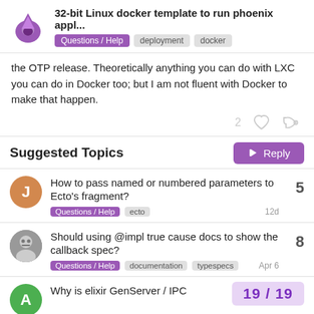32-bit Linux docker template to run phoenix appl...
the OTP release. Theoretically anything you can do with LXC you can do in Docker too; but I am not fluent with Docker to make that happen.
Suggested Topics
How to pass named or numbered parameters to Ecto's fragment?
Should using @impl true cause docs to show the callback spec?
Why is elixir GenServer / IPC
19 / 19